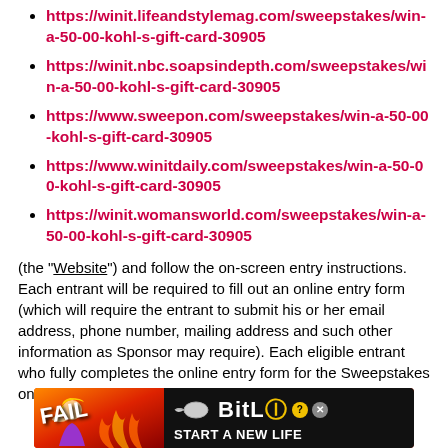https://winit.lifeandstylemag.com/sweepstakes/win-a-50-00-kohl-s-gift-card-30905
https://winit.nbc.soapsindepth.com/sweepstakes/win-a-50-00-kohl-s-gift-card-30905
https://www.sweepon.com/sweepstakes/win-a-50-00-kohl-s-gift-card-30905
https://www.winitdaily.com/sweepstakes/win-a-50-00-kohl-s-gift-card-30905
https://winit.womansworld.com/sweepstakes/win-a-50-00-kohl-s-gift-card-30905
(the “Website”) and follow the on-screen entry instructions. Each entrant will be required to fill out an online entry form (which will require the entrant to submit his or her email address, phone number, mailing address and such other information as Sponsor may require). Each eligible entrant who fully completes the online entry form for the Sweepstakes on the Website will receive one Sweepstakes
[Figure (photo): BitLife advertisement banner at bottom of page with orange/red fire background, cartoon girl, FAIL text, sperm icon, BitLife logo with question mark badge and X badge, and START A NEW LIFE tagline]